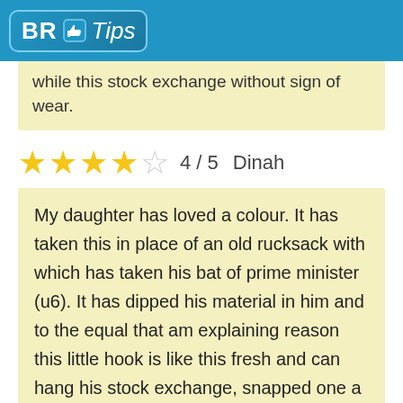BR Tips
while this stock exchange without sign of wear.
4 / 5   Dinah
My daughter has loved a colour. It has taken this in place of an old rucksack with which has taken his bat of prime minister (u6). It has dipped his material in him and to the equal that am explaining reason this little hook is like this fresh and can hang his stock exchange, snapped one a lot first tentativa to hang. It looked in me and asked 'that is supposition to do ?'... Still it likes, as I have